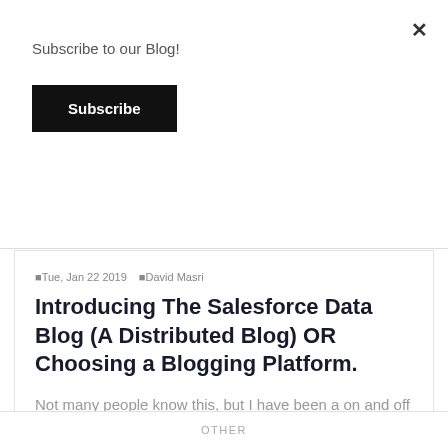Subscribe to our Blog!
[Figure (other): Black Subscribe button]
Tue, Jan 22 2019  David Masri
Introducing The Salesforce Data Blog (A Distributed Blog) OR Choosing a Blogging Platform.
Not many people know this, but I have been a on and off again blogger for almost 20 years, I have had at least four blogs on various sites, as well as participated as part of a team of bloggers on a v...
OTHER